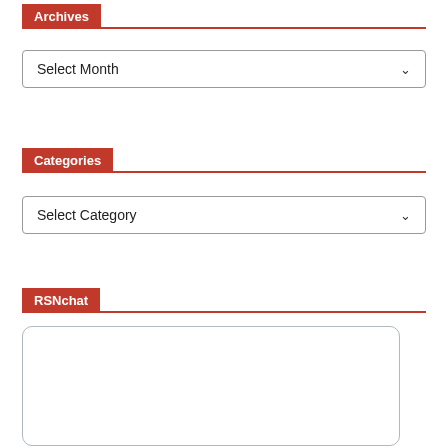Archives
Select Month
Categories
Select Category
RSNchat
[Figure (other): Empty RSNchat widget box with rounded border]